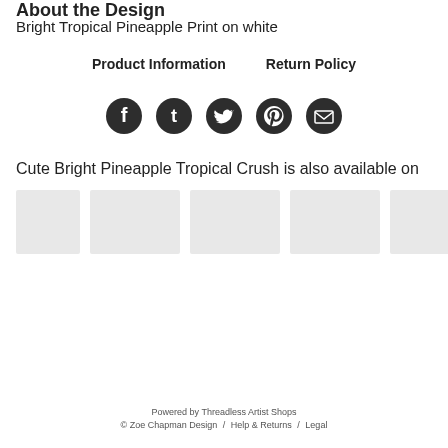About the Design
Bright Tropical Pineapple Print on white
Product Information    Return Policy
[Figure (infographic): Five dark circular social media icons: Facebook, Tumblr, Twitter, Pinterest, Email]
Cute Bright Pineapple Tropical Crush is also available on
[Figure (photo): Row of placeholder product thumbnail images in light gray]
Powered by Threadless Artist Shops
© Zoe Chapman Design / Help & Returns / Legal